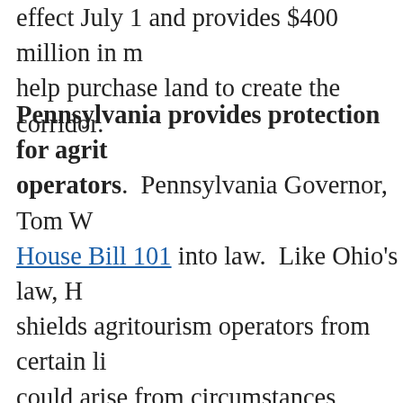effect July 1 and provides $400 million in matching funds to help purchase land to create the corridor.
Pennsylvania provides protection for agritourism operators. Pennsylvania Governor, Tom W… signed House Bill 101 into law. Like Ohio's law, H… shields agritourism operators from certain liability that could arise from circumstances beyond their control. House Bill 101 prevents participants in an agritourism activity from suing the agritourism operator if the operator warns participants of the inherent risks of being on a farm and engaging in an agritourism activity. An agritourism operator must: (1) have a 3' x 2' warning sign notifying participants that an agritourism operator is not liable, except under limited circumstances, for…